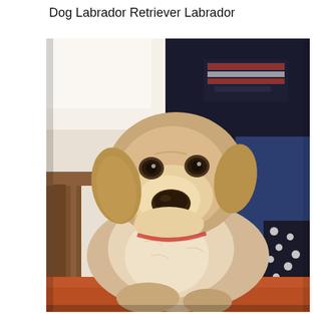Dog Labrador Retriever Labrador
[Figure (photo): A yellow Labrador Retriever puppy sitting and looking at the camera, with a person wearing dark clothing with a graphic print and polka-dot pants visible in the background, and wooden furniture on the left side.]